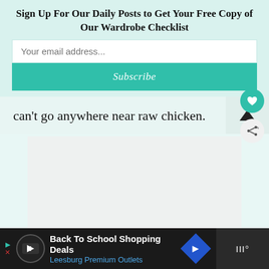Sign Up For Our Daily Posts to Get Your Free Copy of Our Wardrobe Checklist
Your email address...
Subscribe
can't go anywhere near raw chicken.
[Figure (screenshot): Empty light gray image placeholder with three pagination dots at the bottom center]
[Figure (infographic): Advertisement bar: Back To School Shopping Deals - Leesburg Premium Outlets]